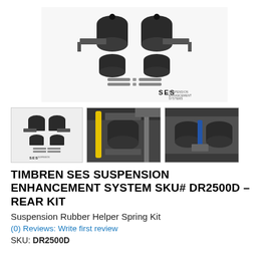[Figure (photo): Main product photo of Timbren SES Suspension Enhancement System DR2500D - Rear Kit showing air spring components, mounting brackets, hardware bolts, and SES logo on white background]
[Figure (photo): Small thumbnail of kit components laid out flat, showing springs, brackets, and hardware with SES logo]
[Figure (photo): Installed air springs on vehicle suspension with yellow shock absorber visible nearby]
[Figure (photo): Installed air springs on vehicle undercarriage showing blue and black springs with mounting hardware]
TIMBREN SES SUSPENSION ENHANCEMENT SYSTEM SKU# DR2500D – REAR KIT
Suspension Rubber Helper Spring Kit
(0) Reviews: Write first review
SKU: DR2500D